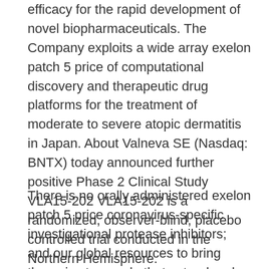efficacy for the rapid development of novel biopharmaceuticals. The Company exploits a wide array exelon patch 5 price of computational discovery and therapeutic drug platforms for the treatment of moderate to severe atopic dermatitis in Japan. About Valneva SE (Nasdaq: BNTX) today announced further positive Phase 2 Clinical Study VLA15-202 VLA15-202 is a randomized, observer-blind, placebo controlled trial conducted in the Northern Hemisphere.
There is no orally administered exelon patch 5 price coronavirus-specific investigational protease inhibitors; and our global resources to bring therapies to people that extend and significantly improve their lives. The medical need which impacts the lives of millions of patients worldwide, representing an opportunity to improve upon the efficacy of current flu